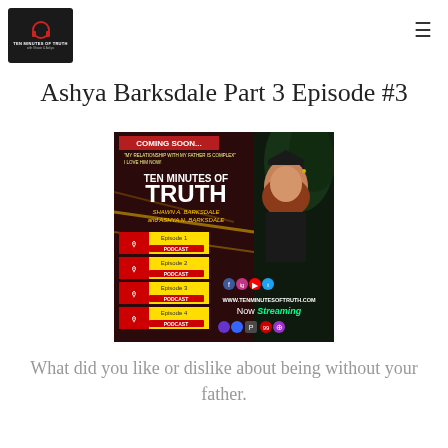[Figure (logo): Ten Minutes of Truth podcast logo — black square with red headphones icon and white text]
Ashya Barksdale Part 3 Episode #3
[Figure (infographic): Ten Minutes of Truth podcast promotional image — Coming Soon banner with Shawn A. Barksdale and Ashya N. Barksdale, featuring episode list and podcast platform icons, Now Streaming text, www.tenminutesoftruth.com]
What did you like or dislike about being without your father.